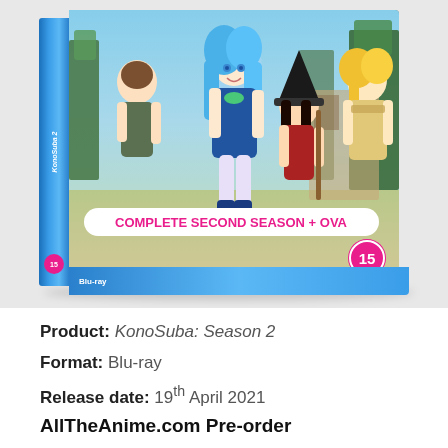[Figure (photo): KonoSuba Season 2 Blu-ray case with anime characters on the cover, showing 'COMPLETE SECOND SEASON + OVA' banner and age rating badge '15'. Blue Blu-ray case with spine showing KonoSuba 2 title.]
Product: KonoSuba: Season 2
Format: Blu-ray
Release date: 19th April 2021
AllTheAnime.com Pre-order